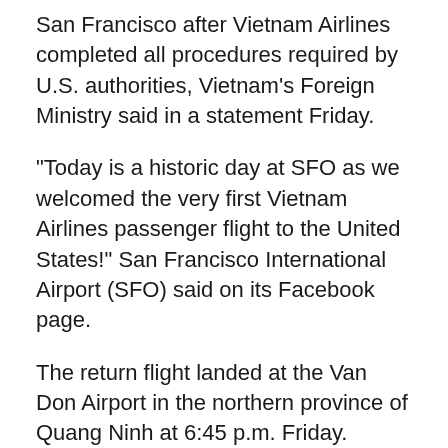San Francisco after Vietnam Airlines completed all procedures required by U.S. authorities, Vietnam's Foreign Ministry said in a statement Friday.
"Today is a historic day at SFO as we welcomed the very first Vietnam Airlines passenger flight to the United States!" San Francisco International Airport (SFO) said on its Facebook page.
The return flight landed at the Van Don Airport in the northern province of Quang Ninh at 6:45 p.m. Friday. Passengers included overseas students under the age of 18, seniors and people in extremely difficult circumstances, business travelers and tourists whose visas had expired. They underwent medical checks before boarding and wore face masks throughout the flight.
A representative of the airport said in a statement...